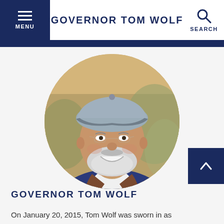GOVERNOR TOM WOLF
[Figure (photo): Circular portrait photo of Governor Tom Wolf smiling, wearing a grey baseball cap, glasses, a white shirt and jacket, in an outdoor setting with blurred background]
GOVERNOR TOM WOLF
On January 20, 2015, Tom Wolf was sworn in as